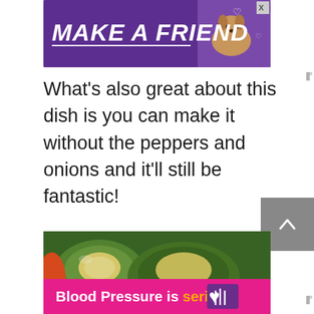[Figure (illustration): Purple advertisement banner reading MAKE A FRIEND with italic bold white text and underline, with a cartoon dog graphic on the right and a close (X) button, on a purple background.]
What’s also great about this dish is you can make it without the peppers and onions and it’ll still be fantastic!
[Figure (photo): Close-up photo of food, appears to show stuffed peppers or similar dish with green and yellow colors.]
[Figure (illustration): Pink advertisement banner at bottom reading: Blood Pressure is serious, with a purple heart logo and white/orange text on pink background.]